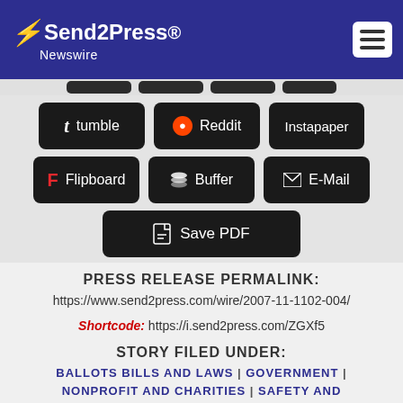Send2Press Newswire
[Figure (screenshot): Row of dark sharing buttons (tumble, Reddit, Instapaper, Flipboard, Buffer, E-Mail, Save PDF)]
PRESS RELEASE PERMALINK:
https://www.send2press.com/wire/2007-11-1102-004/
Shortcode: https://i.send2press.com/ZGXf5
STORY FILED UNDER:
BALLOTS BILLS AND LAWS | GOVERNMENT | NONPROFIT AND CHARITIES | SAFETY AND …